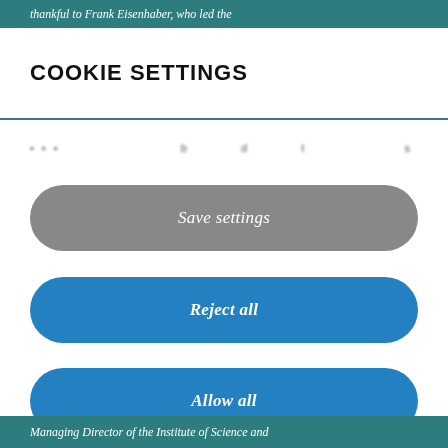thankful to Frank Eisenhaber, who led the
COOKIE SETTINGS
… (blurred/redacted text) …
Save settings
Reject all
Allow all
Managing Director of the Institute of Science and